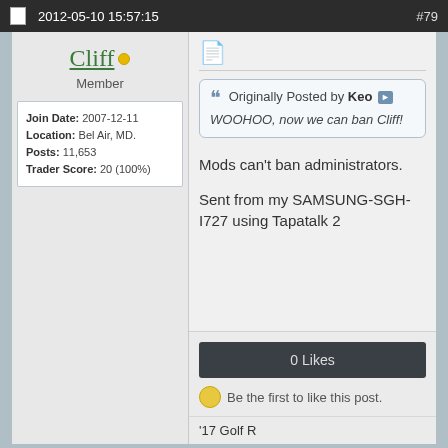2012-05-10 15:57:15  #79
Cliff
Member
| Join Date: | 2007-12-11 |
| Location: | Bel Air, MD. |
| Posts: | 11,653 |
| Trader Score: | 20 (100%) |
Originally Posted by Keo  WOOHOO, now we can ban Cliff!
Mods can't ban administrators.

Sent from my SAMSUNG-SGH-I727 using Tapatalk 2
0 Likes
Be the first to like this post.
'17 Golf R